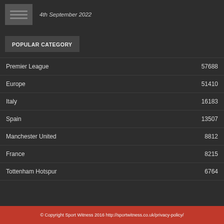[Figure (illustration): Small thumbnail image with horizontal lines representing a document/article preview]
4th September 2022
POPULAR CATEGORY
Premier League 57688
Europe 51410
Italy 16183
Spain 13507
Manchester United 8812
France 8215
Tottenham Hotspur 6764
© Copyright Sport Witness 2016 http://sportwitness.co.uk/privacy-policy/